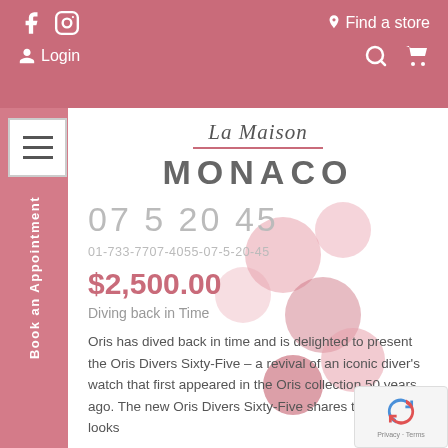Social icons, Find a store, Login, Search, Cart
[Figure (logo): La Maison Monaco logo with italic script 'La Maison' and bold sans-serif 'MONACO']
07 5 20 45
01-733-7707-4055-07-5-20-45
$2,500.00
Diving back in Time
Oris has dived back in time and is delighted to present the Oris Divers Sixty-Five – a revival of an iconic diver's watch that first appeared in the Oris collection 50 years ago. The new Oris Divers Sixty-Five shares the retro looks